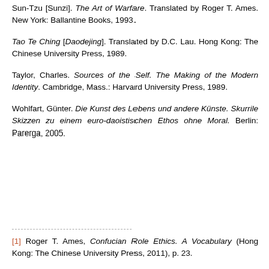Sun-Tzu [Sunzi]. The Art of Warfare. Translated by Roger T. Ames. New York: Ballantine Books, 1993.
Tao Te Ching [Daodejing]. Translated by D.C. Lau. Hong Kong: The Chinese University Press, 1989.
Taylor, Charles. Sources of the Self. The Making of the Modern Identity. Cambridge, Mass.: Harvard University Press, 1989.
Wohlfart, Günter. Die Kunst des Lebens und andere Künste. Skurrile Skizzen zu einem euro-daoistischen Ethos ohne Moral. Berlin: Parerga, 2005.
[1] Roger T. Ames, Confucian Role Ethics. A Vocabulary (Hong Kong: The Chinese University Press, 2011), p. 23.